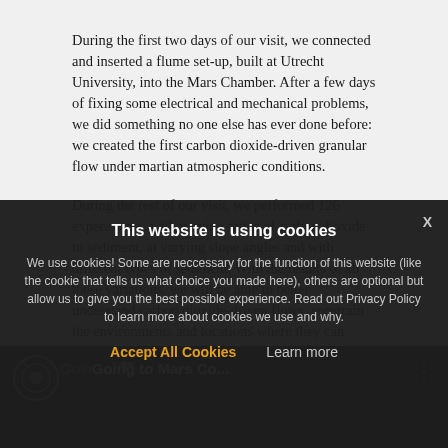During the first two days of our visit, we connected and inserted a flume set-up, built at Utrecht University, into the Mars Chamber. After a few days of fixing some electrical and mechanical problems, we did something no one else has ever done before: we created the first carbon dioxide-driven granular flow under martian atmospheric conditions.
During the rest of our visit, we performed 126 experiments, with varying ratios of carbon dioxide to sediment, at varying slope angles and with different types of sediment. With the results of all these variations, we will be able to better understand carbon dioxide-driven flows, constrain the environments and locations where they can occur on Mars and, ultimately, better understand the processes that shape the surface of Mars today.
[Figure (screenshot): Video player strip showing a YouTube-style video with title 'Going to Mars Co...' partially visible, with cookie consent overlay covering most of the bottom portion]
This website is using cookies
We use cookies! Some are neccessary for the function of this website (like the cookie that tells us what choice you made here), others are optional but allow us to give you the best possible experience. Read out Privacy Policy to learn more about cookies we use and why.
Accept All Cookies   Learn more